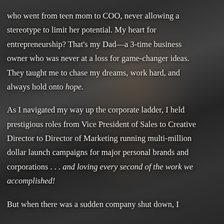who went from teen mom to COO, never allowing a stereotype to limit her potential. My heart for entrepreneurship? That's my Dad—a 3-time business owner who was never at a loss for game-changer ideas. They taught me to chase my dreams, work hard, and always hold onto hope.
As I navigated my way up the corporate ladder, I held prestigious roles from Vice President of Sales to Creative Director to Director of Marketing running multi-million dollar launch campaigns for major personal brands and corporations . . . and loving every second of the work we accomplished!
But when there was a sudden company shut down, I